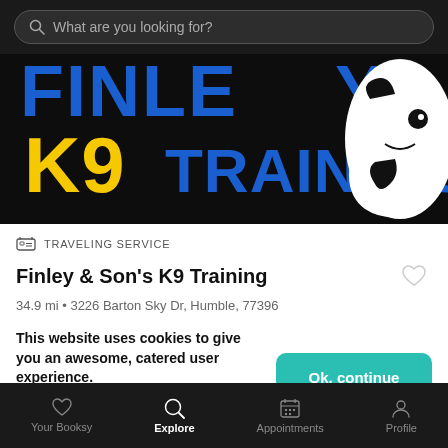What are you looking for?
[Figure (screenshot): Finley & Son's K9 Training banner logo with blue and yellow text on black background, with a dog illustration on the right]
TRAVELING SERVICE
Finley & Son's K9 Training
34.9 mi • 3226 Barton Sky Dr, Humble, 77396
This website uses cookies to give you an awesome, catered user experience. Continuing on after seeing this message means that you're cool with that.
Your Booksy | Explore | Appointments | Profile